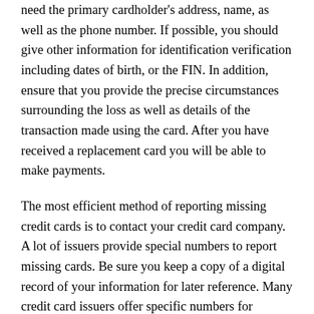need the primary cardholder's address, name, as well as the phone number. If possible, you should give other information for identification verification including dates of birth, or the FIN. In addition, ensure that you provide the precise circumstances surrounding the loss as well as details of the transaction made using the card. After you have received a replacement card you will be able to make payments.
The most efficient method of reporting missing credit cards is to contact your credit card company. A lot of issuers provide special numbers to report missing cards. Be sure you keep a copy of a digital record of your information for later reference. Many credit card issuers offer specific numbers for travellers who are not in the country. Be mindful that the different companies have distinct guidelines when it comes to changing cards, so be sure to contact their customer support department to first learn the policies and procedures.